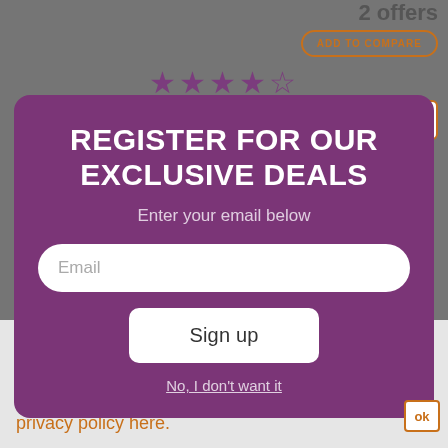2 offers
ADD TO COMPARE
[Figure (screenshot): Star rating showing approximately 4.5 out of 5 stars in purple]
[Figure (screenshot): Close button with orange X icon]
REGISTER FOR OUR EXCLUSIVE DEALS
Enter your email below
Email
Sign up
No, I don't want it
This site uses cookies to enhance your web site experience. By continuing to browse or use this site, you are agreeing to our use of cookies. See our privacy policy here.